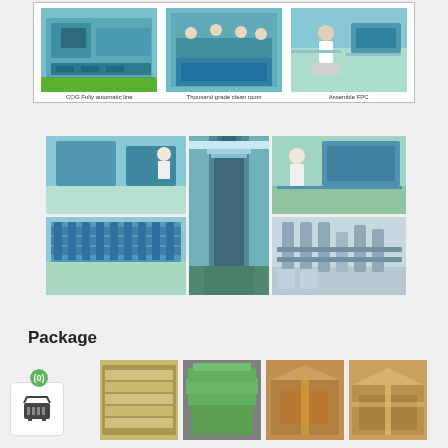[Figure (photo): Three factory photos: COG Fully automatic line, Thousand grade clean room, Assemble FPC]
COG Fully automatic line    Thousand grade clean room    Assemble FPC
[Figure (photo): Five factory facility photos in a grid layout showing clean room equipment, corridor, and water treatment systems]
Package
[Figure (photo): Four packaging photos showing different types of product packaging boxes and trays]